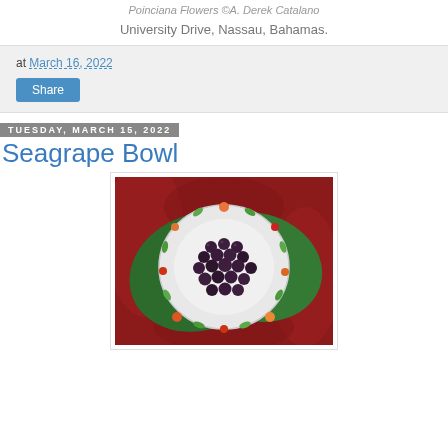Poinciana Flowers ©A. Derek Catalano
University Drive, Nassau, Bahamas.
at March 16, 2022
Share
Tuesday, March 15, 2022
Seagrape Bowl
[Figure (photo): Overhead photo of dark purple seagrapes arranged on a decorative plate with fruit motifs, placed on large green seagrape leaves over red satin fabric.]